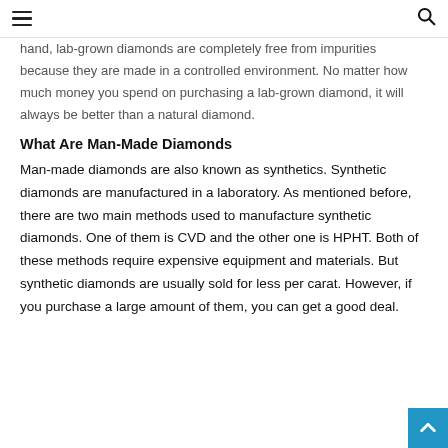≡  🔍
hand, lab-grown diamonds are completely free from impurities because they are made in a controlled environment. No matter how much money you spend on purchasing a lab-grown diamond, it will always be better than a natural diamond.
What Are Man-Made Diamonds
Man-made diamonds are also known as synthetics. Synthetic diamonds are manufactured in a laboratory. As mentioned before, there are two main methods used to manufacture synthetic diamonds. One of them is CVD and the other one is HPHT. Both of these methods require expensive equipment and materials. But synthetic diamonds are usually sold for less per carat. However, if you purchase a large amount of them, you can get a good deal.